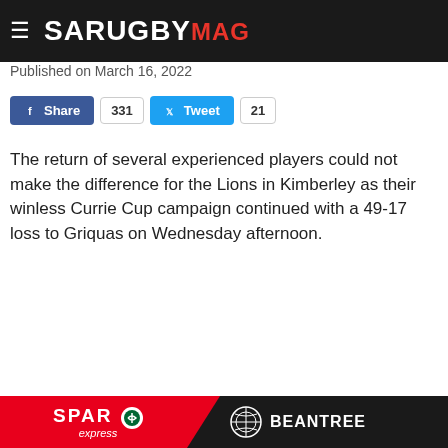SA RUGBY MAG
Published on March 16, 2022
[Figure (screenshot): Facebook Share button with count 331 and Twitter Tweet button with count 21]
The return of several experienced players could not make the difference for the Lions in Kimberley as their winless Currie Cup campaign continued with a 49-17 loss to Griquas on Wednesday afternoon.
[Figure (photo): McDonald's Blitzboks Big Boerie Burgers advertisement. Shows Springbok and McDonald's logos, 'NEW' badge, text reads Blitzboks Big Boerie Burgers, Limited time offer, with burger images.]
SPAR express | BEANTREE